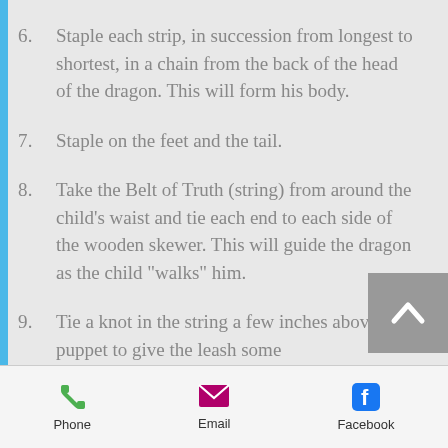6.   Staple each strip, in succession from longest to shortest, in a chain from the back of the head of the dragon.  This will form his body.
7.   Staple on the feet and the tail.
8.   Take the Belt of Truth (string)  from around the child's waist and tie each end to each side of the wooden skewer.  This will guide the dragon as the child "walks" him.
9.   Tie a knot in the string a few inches above the puppet to give the leash some
Phone   Email   Facebook